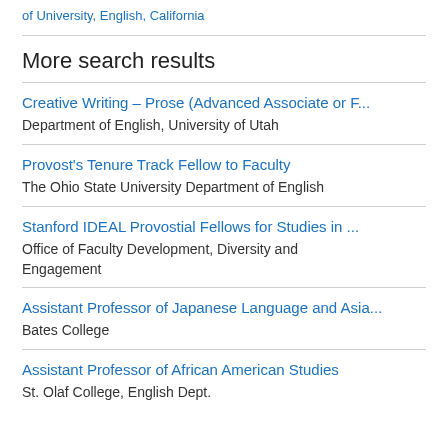of University, English, California
More search results
Creative Writing – Prose (Advanced Associate or F...
Department of English, University of Utah
Provost's Tenure Track Fellow to Faculty
The Ohio State University Department of English
Stanford IDEAL Provostial Fellows for Studies in ...
Office of Faculty Development, Diversity and Engagement
Assistant Professor of Japanese Language and Asia...
Bates College
Assistant Professor of African American Studies
St. Olaf College, English Dept.